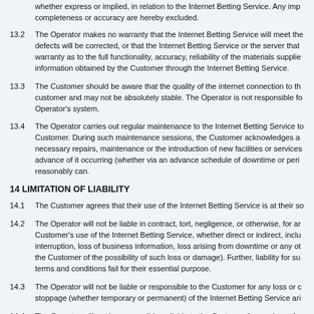whether express or implied, in relation to the Internet Betting Service. Any implied warranties as to completeness or accuracy are hereby excluded.
13.2 The Operator makes no warranty that the Internet Betting Service will meet the Customer's requirements, that defects will be corrected, or that the Internet Betting Service or the server that makes it available are free from errors. The Operator gives no warranty as to the full functionality, accuracy, reliability of the materials supplied or available through, or any information obtained by the Customer through the Internet Betting Service.
13.3 The Customer should be aware that the quality of the internet connection to the Internet Betting Service is determined by the customer and may not be absolutely stable. The Operator is not responsible for any loss resulting from a failure of the Operator's system.
13.4 The Operator carries out regular maintenance to the Internet Betting Service to ensure that a reliable service is offered to the Customer. During such maintenance sessions, the Customer acknowledges and accepts that the Internet Betting Service may be unavailable for necessary repairs, maintenance or the introduction of new facilities or services. Where possible, the Operator will give the Customer advance of it occurring (whether via an advance schedule of downtime or periodic maintenance announcements) as soon as it reasonably can.
14 LIMITATION OF LIABILITY
14.1 The Customer agrees that their use of the Internet Betting Service is at their sole risk.
14.2 The Operator will not be liable in contract, tort, negligence, or otherwise, for any loss or damage arising out of or in connection with the Customer's use of the Internet Betting Service, whether direct or indirect, including without limitation consequential loss, loss of profits, business interruption, loss of business information, loss arising from downtime or any other financial loss (even where the Operator has been notified by the Customer of the possibility of such loss or damage). Further, liability for such losses is excluded even where these terms and conditions fail for their essential purpose.
14.3 The Operator will not be liable or responsible to the Customer for any loss or damage suffered by the Customer arising from any suspension or stoppage (whether temporary or permanent) of the Internet Betting Service arising from whatever cause.
14.4 The Operator will not be responsible or liable to the Customer for any loss of content or material uploaded or transmitted through the Internet Betting Service. The Customer confirms that the Operator will not be liable to the Customer or any third party for any modification or discontinuance of the Internet Betting Service.
14.5 The Operator may monitor and record activity on the Internet Betting Service...